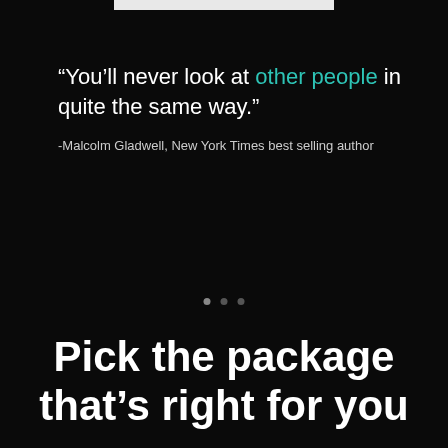“You’ll never look at other people in quite the same way.”
-Malcolm Gladwell, New York Times best selling author
Pick the package that’s right for you